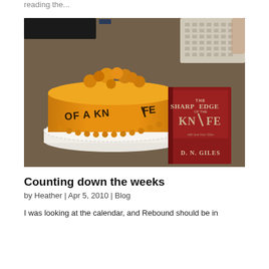reading the...
[Figure (photo): A yellow/orange fondant cake with 'OF A KNIFE' written on it, decorated with round fondant balls on top, sitting on a white cake board. Next to the cake is a red book titled 'The Sharp Edge of a Knife' by D.N. Giles.]
Counting down the weeks
by Heather | Apr 5, 2010 | Blog
I was looking at the calendar, and Rebound should be in